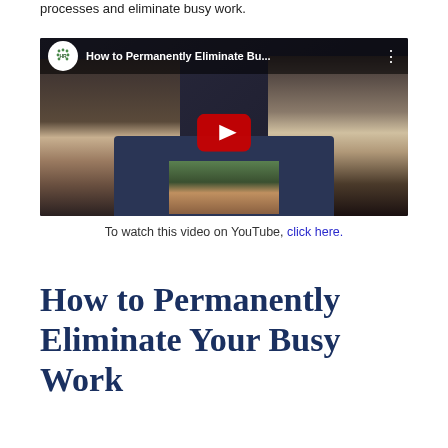processes and eliminate busy work.
[Figure (screenshot): YouTube video thumbnail showing two people seated on a dark sofa having a conversation. Video title reads 'How to Permanently Eliminate Bu...' with YouTube play button overlay and HR logo.]
To watch this video on YouTube, click here.
How to Permanently Eliminate Your Busy Work